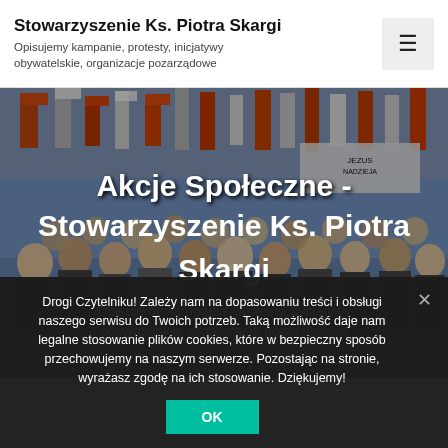Akcje Społeczne Stowarzyszenie Ks. Piotra Skargi — Opisujemy kampanie, protesty, inicjatywy obywatelskie, organizacje pozarządowe
[Figure (photo): Crowd scene at a public demonstration with orange and white flags, people gathered in an urban area. Overlaid text reads: Akcje Społeczne - Stowarzyszenie Ks. Piotra Skargi. Opisujemy kampanie, protesty, inicjatywy obywatelskie, organizacje pozarządowe]
Drogi Czytelniku! Zależy nam na dopasowaniu treści i obsługi naszego serwisu do Twoich potrzeb. Taką możliwość daje nam legalne stosowanie plików cookies, które w bezpieczny sposób przechowujemy na naszym serwerze. Pozostając na stronie, wyrażasz zgodę na ich stosowanie. Dziękujemy!
OK